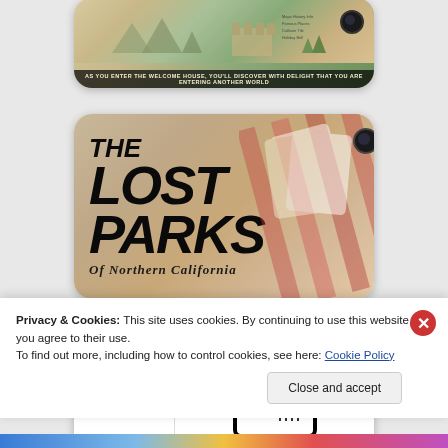[Figure (photo): Phone case with vintage map/park theme - partially visible at top]
[Figure (photo): Phone case showing 'THE LOST PARKS OF NORTHERN CALIFORNIA' book cover design in bold italic black text on warm beige/tan background]
[Figure (photo): Phone case showing 'THE LOST PARKS OF NORTHERN CALIFORNIA' rotated text on left side, and San Francisco building logo on right side]
Privacy & Cookies: This site uses cookies. By continuing to use this website, you agree to their use.
To find out more, including how to control cookies, see here: Cookie Policy
Close and accept